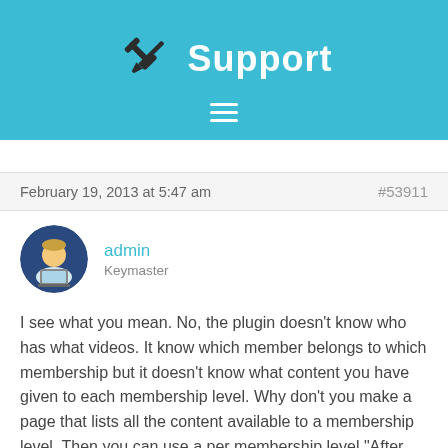Support
February 19, 2013 at 5:47 am
#53911
[Figure (illustration): Circular avatar showing a cartoon character of a person sitting at a laptop, with a dark blue circular background.]
admin
Keymaster
I see what you mean. No, the plugin doesn't know who has what videos. It know which member belongs to which membership but it doesn't know what content you have given to each membership level. Why don't you make a page that lists all the content available to a membership level. Then you can use a per membership level "After Login Redirection" to send the users to the correct page.